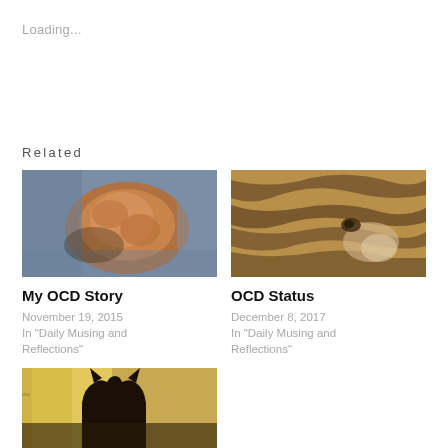Loading...
Related
[Figure (photo): Cat curled up on blue blanket, viewed from above, orange/brown fur]
My OCD Story
November 19, 2015
In "Daily Musing and Reflections"
[Figure (photo): Tabby cat with striped fur sleeping, close-up of face]
OCD Status
December 8, 2017
In "Daily Musing and Reflections"
[Figure (photo): Dark silhouette of a cat against bright window light]